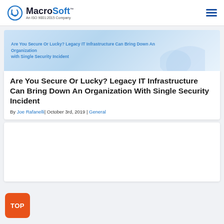MacroSoft™ An ISO 9001:2015 Company
[Figure (illustration): Light blue banner image with text overlay: Are You Secure Or Lucky? Legacy IT Infrastructure Can Bring Down An Organization With Single Security Incident]
Are You Secure Or Lucky? Legacy IT Infrastructure Can Bring Down An Organization With Single Security Incident
By Joe Rafanelli| October 3rd, 2019 | General
[Figure (other): Blank white card section below the article listing]